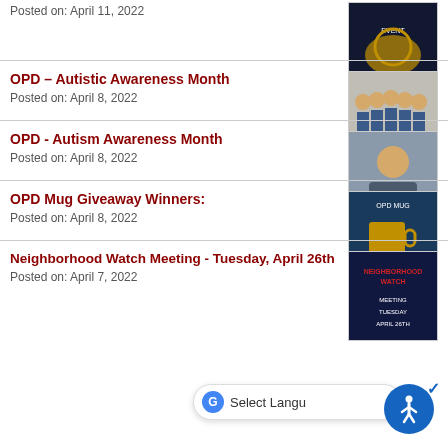Posted on: April 11, 2022
[Figure (photo): Dark themed event poster thumbnail]
OPD – Autistic Awareness Month
Posted on: April 8, 2022
[Figure (photo): Group photo of police officers]
OPD - Autism Awareness Month
Posted on: April 8, 2022
[Figure (photo): Photo of a man in dark shirt]
OPD Mug Giveaway Winners:
Posted on: April 8, 2022
[Figure (photo): OPD mug giveaway promotional image]
Neighborhood Watch Meeting - Tuesday, April 26th
Posted on: April 7, 2022
[Figure (photo): Neighborhood Watch Meeting event flyer]